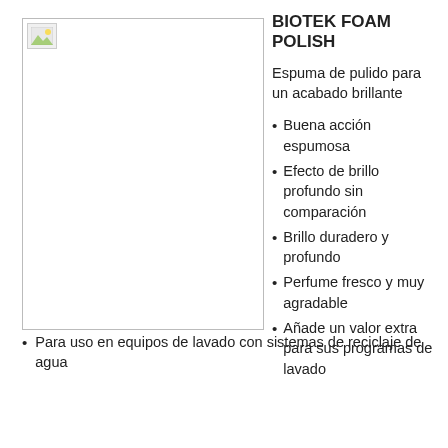[Figure (photo): Product image placeholder for Biotek Foam Polish]
BIOTEK FOAM POLISH
Espuma de pulido para un acabado brillante
Buena acción espumosa
Efecto de brillo profundo sin comparación
Brillo duradero y profundo
Perfume fresco y muy agradable
Añade un valor extra para sus programas de lavado
Para uso en equipos de lavado con sistemas de reciclaje de agua